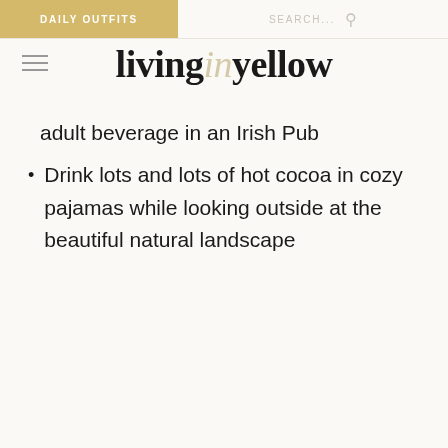DAILY OUTFITS   SEARCH...
livinginyellow
adult beverage in an Irish Pub
Drink lots and lots of hot cocoa in cozy pajamas while looking outside at the beautiful natural landscape